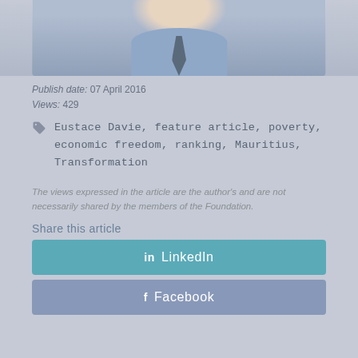[Figure (photo): Cropped photo of a person wearing a blue shirt and dark tie, showing lower face and upper body]
Publish date: 07 April 2016
Views: 429
Eustace Davie, feature article, poverty, economic freedom, ranking, Mauritius, Transformation
The views expressed in the article are the author's and are not necessarily shared by the members of the Foundation.
Share this article
in LinkedIn
f Facebook